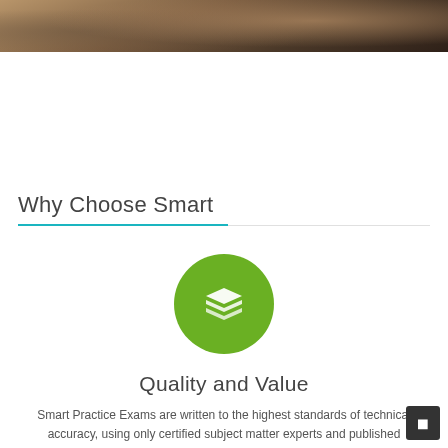[Figure (photo): Blurred photo banner showing a desk/laptop scene with warm brown tones at the top of the page]
Why Choose Smart
[Figure (illustration): Green circle with white stacked layers icon representing quality content]
Quality and Value
Smart Practice Exams are written to the highest standards of technical accuracy, using only certified subject matter experts and published